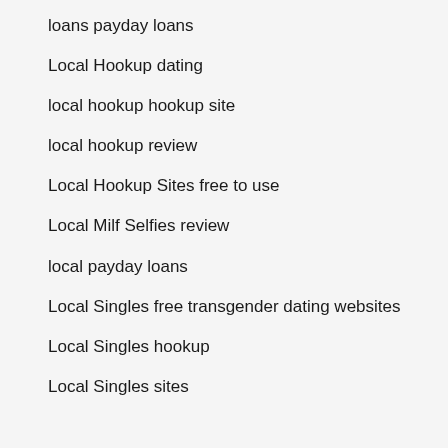loans payday loans
Local Hookup dating
local hookup hookup site
local hookup review
Local Hookup Sites free to use
Local Milf Selfies review
local payday loans
Local Singles free transgender dating websites
Local Singles hookup
Local Singles sites